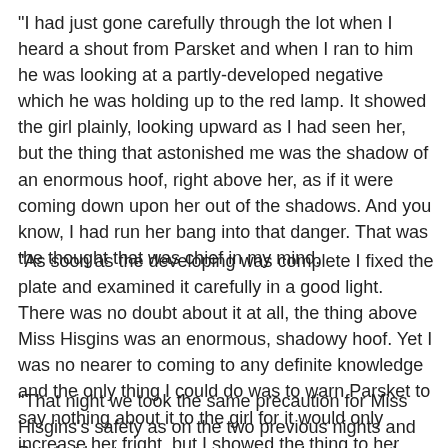"I had just gone carefully through the lot when I heard a shout from Parsket and when I ran to him he was looking at a partly-developed negative which he was holding up to the red lamp. It showed the girl plainly, looking upward as I had seen her, but the thing that astonished me was the shadow of an enormous hoof, right above her, as if it were coming down upon her out of the shadows. And you know, I had run her bang into that danger. That was the thought that was chief in my mind.
"As soon as the developing was complete I fixed the plate and examined it carefully in a good light. There was no doubt about it at all, the thing above Miss Hisgins was an enormous, shadowy hoof. Yet I was no nearer to coming to any definite knowledge and the only thing I could do was to warn Parsket to say nothing about it to the girl for it would only increase her fright, but I showed the thing to her father for I considered it right that he should know.
"That night we took the same precaution for Miss Hisgins's safety as on the two previous nights and Parsket kept me company; yet the dawn came in without anything unusual